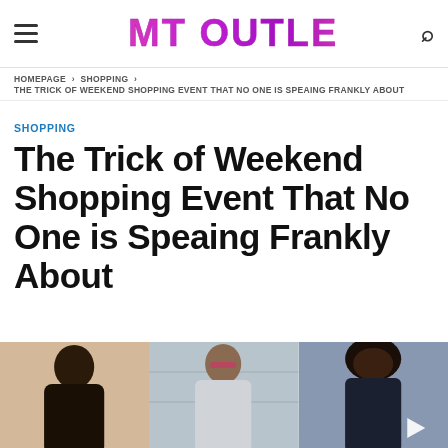GMT OUTLET
HOMEPAGE › SHOPPING › THE TRICK OF WEEKEND SHOPPING EVENT THAT NO ONE IS SPEAING FRANKLY ABOUT
SHOPPING
The Trick of Weekend Shopping Event That No One is Speaing Frankly About
[Figure (photo): Three women in street fashion photos side by side]